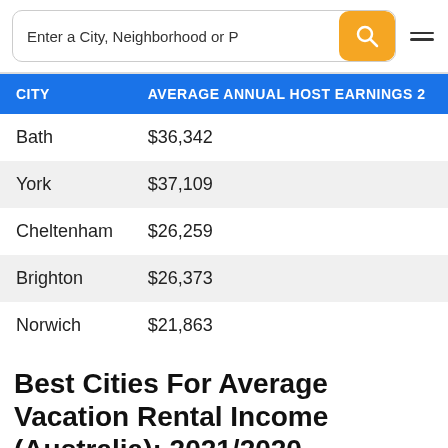Enter a City, Neighborhood or P
| CITY | AVERAGE ANNUAL HOST EARNINGS 2 |
| --- | --- |
| Bath | $36,342 |
| York | $37,109 |
| Cheltenham | $26,259 |
| Brighton | $26,373 |
| Norwich | $21,863 |
Best Cities For Average Vacation Rental Income (Australia): 2021/2020